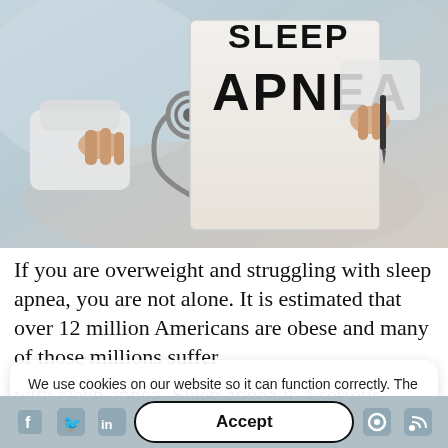[Figure (photo): Doctor in white coat holding a paper sign reading 'SLEEP APNEA' with a stethoscope around neck and pen in hand, blurred clinical background]
If you are overweight and struggling with sleep apnea, you are not alone. It is estimated that over 12 million Americans are obese and many of those millions suffer with sleep apnea. Sleep apnea is a serious chronic condition and it is often goes unnoticed. Sleep apnea can be very dangerous and can cause a variety of issues including premature death.
We use cookies on our website so it can function correctly. The cookies we use do not store any specific information about you personally and they won't harm your computer.

See our privacy policy for more information.